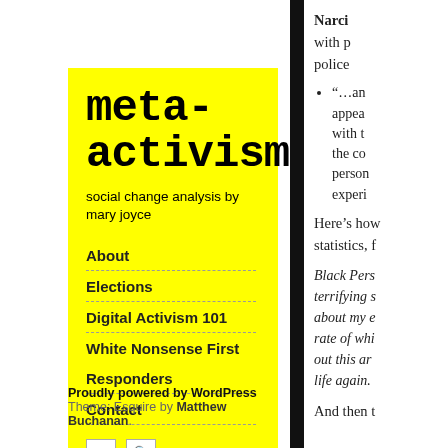meta-activism
social change analysis by mary joyce
About
Elections
Digital Activism 101
White Nonsense First
Responders
Contact
Proudly powered by WordPress
Theme: Esquire by Matthew Buchanan.
Narci... with p... police...
“…an... appea... with t... the co... person... experi...
Here’s how statistics, f...
Black Pers... terrifying s... about my e... rate of whi... out this ar... life again.
And then t...